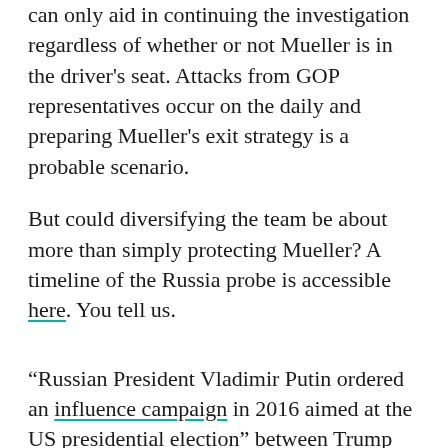can only aid in continuing the investigation regardless of whether or not Mueller is in the driver's seat. Attacks from GOP representatives occur on the daily and preparing Mueller's exit strategy is a probable scenario.
But could diversifying the team be about more than simply protecting Mueller? A timeline of the Russia probe is accessible here. You tell us.
“Russian President Vladimir Putin ordered an influence campaign in 2016 aimed at the US presidential election” between Trump and Democratic presidential nominee Hillary Clinton, the U.S. intelligence community has said.